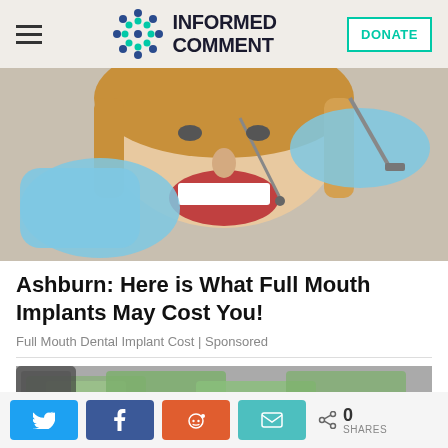INFORMED COMMENT
[Figure (photo): Close-up of a woman smiling showing white teeth, with hands in blue latex gloves holding dental instruments near her mouth]
Ashburn: Here is What Full Mouth Implants May Cost You!
Full Mouth Dental Implant Cost | Sponsored
[Figure (photo): Partial image of money/cash bills and a smartphone or tablet]
0 SHARES